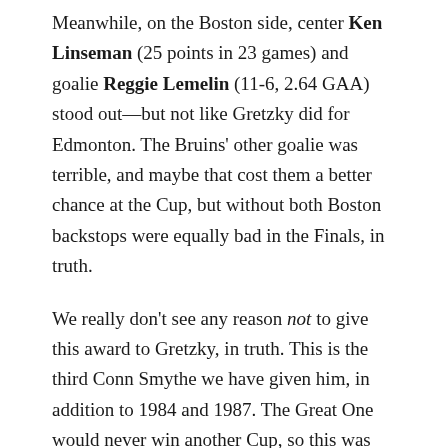Meanwhile, on the Boston side, center Ken Linseman (25 points in 23 games) and goalie Reggie Lemelin (11-6, 2.64 GAA) stood out—but not like Gretzky did for Edmonton. The Bruins' other goalie was terrible, and maybe that cost them a better chance at the Cup, but without both Boston backstops were equally bad in the Finals, in truth.
We really don't see any reason not to give this award to Gretzky, in truth. This is the third Conn Smythe we have given him, in addition to 1984 and 1987. The Great One would never win another Cup, so this was perhaps a symbolic peak for his amazing career.
Check in on Saturdays for our NHL awards historical analysis on The Daily McPlay!